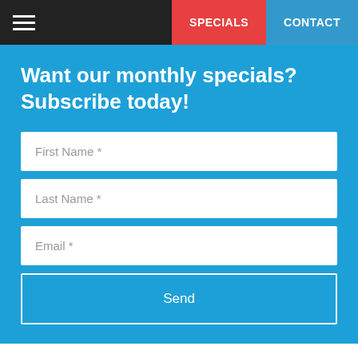SPECIALS | CONTACT
Want our monthly specials? Subscribe today!
First Name *
Last Name *
Email *
Send
Solutions